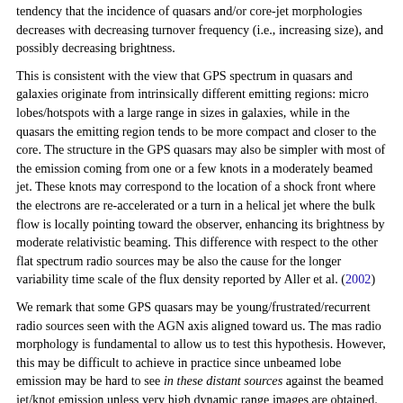tendency that the incidence of quasars and/or core-jet morphologies decreases with decreasing turnover frequency (i.e., increasing size), and possibly decreasing brightness.
This is consistent with the view that GPS spectrum in quasars and galaxies originate from intrinsically different emitting regions: micro lobes/hotspots with a large range in sizes in galaxies, while in the quasars the emitting region tends to be more compact and closer to the core. The structure in the GPS quasars may also be simpler with most of the emission coming from one or a few knots in a moderately beamed jet. These knots may correspond to the location of a shock front where the electrons are re-accelerated or a turn in a helical jet where the bulk flow is locally pointing toward the observer, enhancing its brightness by moderate relativistic beaming. This difference with respect to the other flat spectrum radio sources may be also the cause for the longer variability time scale of the flux density reported by Aller et al. (2002)
We remark that some GPS quasars may be young/frustrated/recurrent radio sources seen with the AGN axis aligned toward us. The mas radio morphology is fundamental to allow us to test this hypothesis. However, this may be difficult to achieve in practice since unbeamed lobe emission may be hard to see in these distant sources against the beamed jet/knot emission unless very high dynamic range images are obtained. Generally, if we do not see a CSO morphology in the quasars, a simple (and likely)